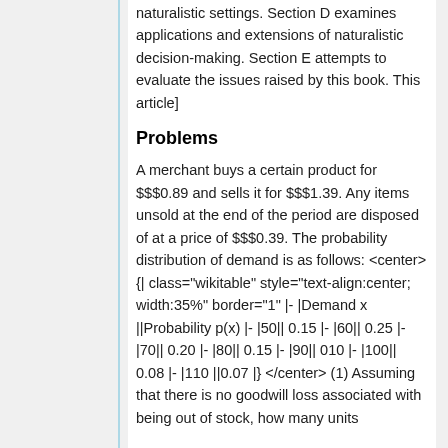naturalistic settings. Section D examines applications and extensions of naturalistic decision-making. Section E attempts to evaluate the issues raised by this book. This article]
Problems
A merchant buys a certain product for $$$0.89 and sells it for $$$1.39. Any items unsold at the end of the period are disposed of at a price of $$$0.39. The probability distribution of demand is as follows: <center> {| class="wikitable" style="text-align:center; width:35%" border="1" |- |Demand x ||Probability p(x) |- |50|| 0.15 |- |60|| 0.25 |- |70|| 0.20 |- |80|| 0.15 |- |90|| 010 |- |100|| 0.08 |- |110 ||0.07 |} </center> (1) Assuming that there is no goodwill loss associated with being out of stock, how many units